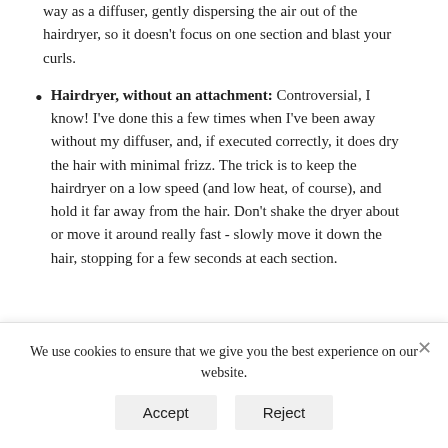way as a diffuser, gently dispersing the air out of the hairdryer, so it doesn't focus on one section and blast your curls.
Hairdryer, without an attachment: Controversial, I know! I've done this a few times when I've been away without my diffuser, and, if executed correctly, it does dry the hair with minimal frizz. The trick is to keep the hairdryer on a low speed (and low heat, of course), and hold it far away from the hair. Don't shake the dryer about or move it around really fast - slowly move it down the hair, stopping for a few seconds at each section.
We use cookies to ensure that we give you the best experience on our website.